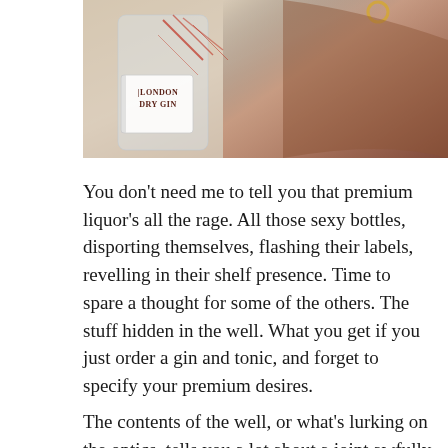[Figure (photo): A hand holding a bottle of London Dry Gin with a decorative red and white label featuring an illustration of London landmarks.]
You don’t need me to tell you that premium liquor’s all the rage. All those sexy bottles, disporting themselves, flashing their labels, revelling in their shelf presence. Time to spare a thought for some of the others. The stuff hidden in the well. What you get if you just order a gin and tonic, and forget to specify your premium desires.
The contents of the well, or what’s lurking on the optics, tells you a lot about a joint awfully